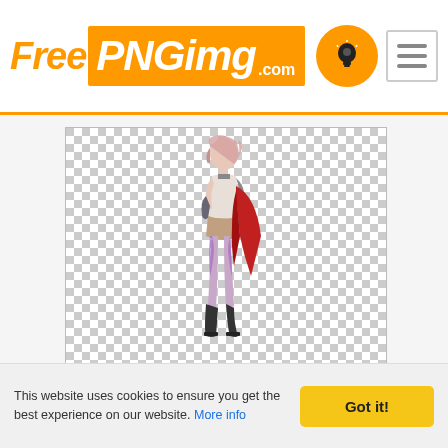[Figure (logo): FreePNGimg.com logo with orange branding, lightbulb icon, and hamburger menu icon in header]
[Figure (photo): PNG image with transparent checker background showing a female video game character (Lightning from Final Fantasy XIII) in full body view with pink hair, white and dark armor, red cape, standing pose holding a weapon]
[Figure (photo): PNG image with transparent checker background showing a partial view of a male video game character with dark hair holding a red mechanical bow/weapon]
This website uses cookies to ensure you get the best experience on our website. More info
Got it!